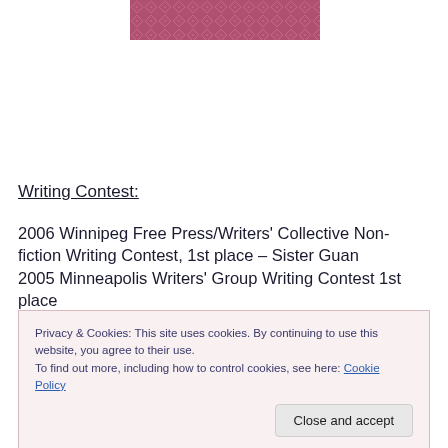[Figure (illustration): Decorative banner image with dark pink/mauve diamond/crosshatch pattern]
Writing Contest:
2006 Winnipeg Free Press/Writers' Collective Non-fiction Writing Contest, 1st place – Sister Guan
2005 Minneapolis Writers' Group Writing Contest 1st place
Privacy & Cookies: This site uses cookies. By continuing to use this website, you agree to their use.
To find out more, including how to control cookies, see here: Cookie Policy
Close and accept